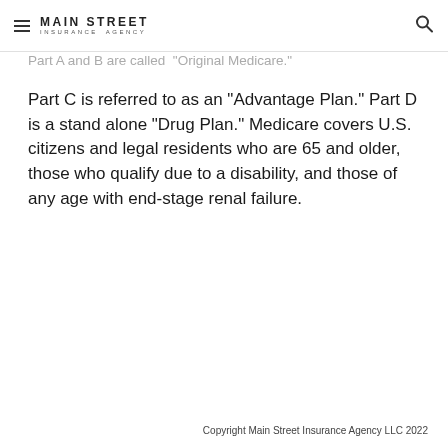Main Street Insurance Agency
Part A and B are called "Original Medicare." Part C is referred to as an "Advantage Plan." Part D is a stand alone "Drug Plan." Medicare covers U.S. citizens and legal residents who are 65 and older, those who qualify due to a disability, and those of any age with end-stage renal failure.
Copyright Main Street Insurance Agency LLC 2022